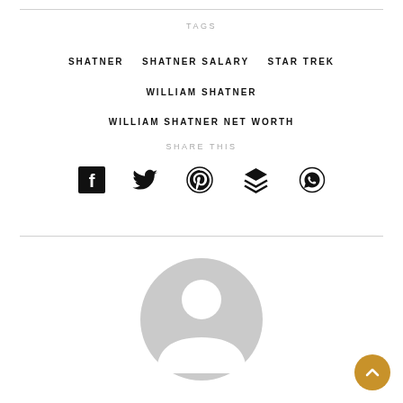TAGS
SHATNER
SHATNER SALARY
STAR TREK
WILLIAM SHATNER
WILLIAM SHATNER NET WORTH
SHARE THIS
[Figure (infographic): Social sharing icons: Facebook, Twitter, Pinterest, Buffer/Layers, WhatsApp]
[Figure (illustration): Generic user avatar placeholder — grey circle with person silhouette]
[Figure (other): Back to top button — gold/amber circular button with upward chevron]